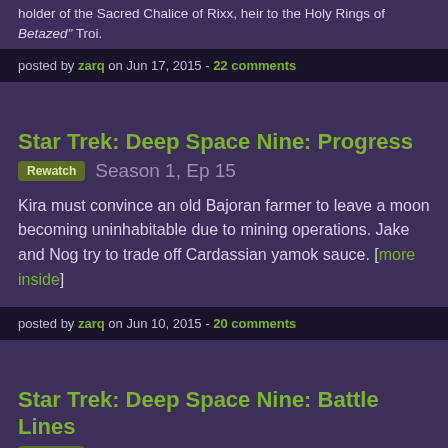holder of the Sacred Chalice of Rixx, heir to the Holy Rings of Betazed" Troi.
posted by zarq on Jun 17, 2015 - 22 comments
Star Trek: Deep Space Nine: Progress
Rewatch  Season 1, Ep 15
Kira must convince an old Bajoran farmer to leave a moon becoming uninhabitable due to mining operations. Jake and Nog try to trade off Cardassian yamok sauce. [more inside]
posted by zarq on Jun 10, 2015 - 20 comments
Star Trek: Deep Space Nine: Battle Lines
Rewatch  Season 1, Ep 13
After showing Bajoran spiritual leader Kai Opaka the